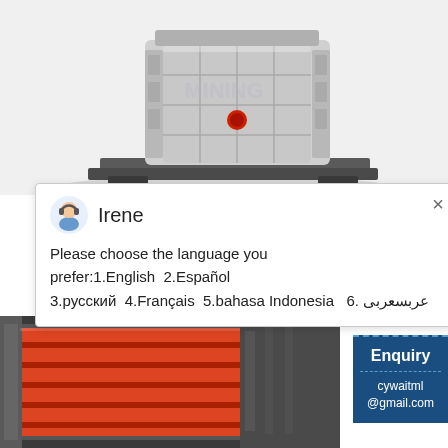[Figure (photo): Industrial jaw crusher machine rendered in 3D, gray/white metal frame with red component, mounted on gray base platform]
Irene
Please choose the language you prefer:1.English  2.Español  3.русский  4.Français  5.bahasa Indonesia   6. عربسعربی
usually driven by the motor as a power sour
[Figure (photo): Industrial jaw crusher plate/liner component - red/orange rectangular ridged plate inside gray metal frame]
Enquiry
cywaitml @gmail.com